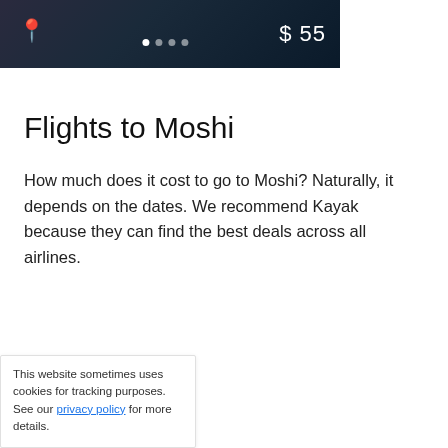[Figure (screenshot): Dark car/ride-share app UI strip showing a pin icon, dot navigation indicators, and a $55 price tag on dark background]
Flights to Moshi
How much does it cost to go to Moshi? Naturally, it depends on the dates. We recommend Kayak because they can find the best deals across all airlines.
[Figure (screenshot): Kayak flight search widget showing 'Powered by KAYAK' logo bar, Round-trip and Traveler dropdowns, and video overlay of 'THIS DAY IN HISTORY' player with August label and media controls]
This website sometimes uses cookies for tracking purposes. See our privacy policy for more details.